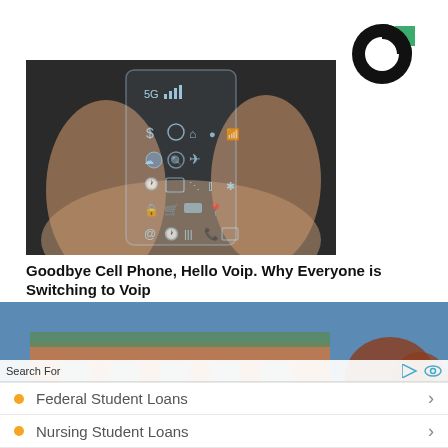[Figure (logo): Black and green circular logo (donut/pie style) with a green square segment in upper right]
[Figure (photo): A hand holding a transparent futuristic glass smartphone showing app icons including 5G signal, cloud, search, camera, wifi, and other app icons on a dark background]
Goodbye Cell Phone, Hello Voip. Why Everyone is Switching to Voip
[Figure (photo): Exterior of a brick school or institutional building under a clear blue sky with autumn trees in the background]
Search For
Federal Student Loans
Nursing Student Loans